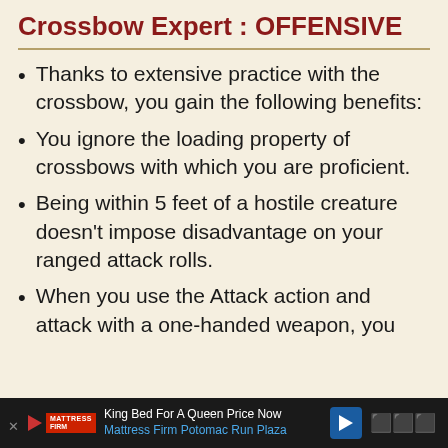Crossbow Expert : OFFENSIVE
Thanks to extensive practice with the crossbow, you gain the following benefits:
You ignore the loading property of crossbows with which you are proficient.
Being within 5 feet of a hostile creature doesn't impose disadvantage on your ranged attack rolls.
When you use the Attack action and attack with a one-handed weapon, you
King Bed For A Queen Price Now | Mattress Firm Potomac Run Plaza